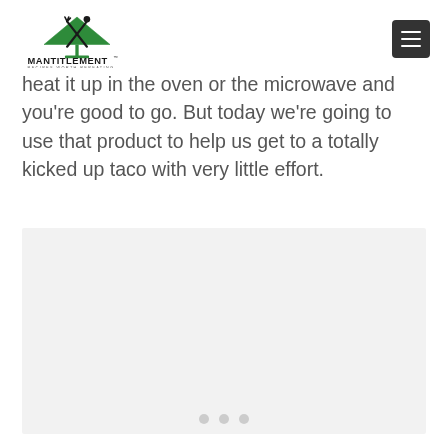MANTITLEMENT - RECIPES WORTH REPEATING
heat it up in the oven or the microwave and you're good to go. But today we're going to use that product to help us get to a totally kicked up taco with very little effort.
[Figure (photo): Image placeholder with light gray background and three small gray dots at the bottom center, indicating a loading or carousel image.]